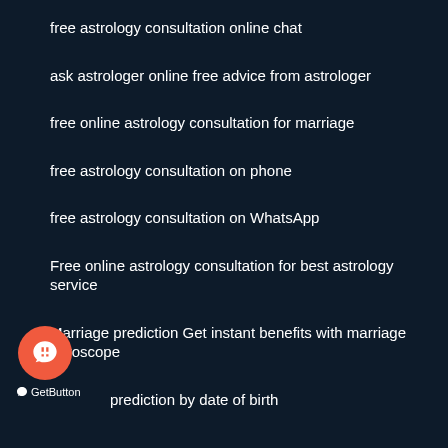free astrology consultation online chat
ask astrologer online free advice from astrologer
free online astrology consultation for marriage
free astrology consultation on phone
free astrology consultation on WhatsApp
Free online astrology consultation for best astrology service
Marriage prediction Get instant benefits with marriage horoscope
s... prediction by date of birth
GetButton
...